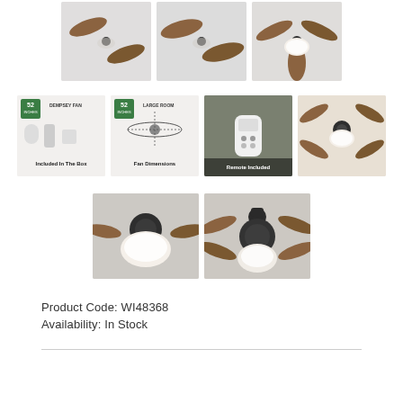[Figure (photo): Row of ceiling fan product thumbnail images - top row showing fan blades from below (3 photos)]
[Figure (photo): Row of ceiling fan product images - second row: included in the box diagram, fan dimensions diagram, remote included photo, fan blade close-up (4 images)]
[Figure (photo): Row of ceiling fan product images - third row: two close-up photos of fan motor/light assembly]
Product Code: WI48368
Availability: In Stock